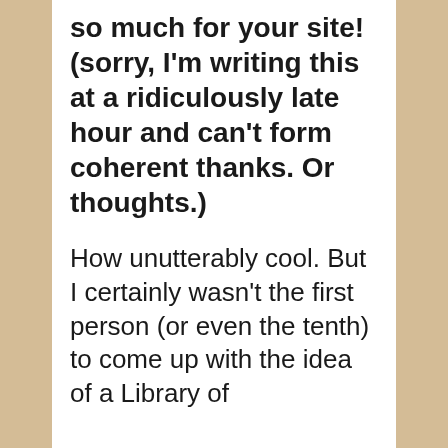so much for your site! (sorry, I'm writing this at a ridiculously late hour and can't form coherent thanks. Or thoughts.)
How unutterably cool. But I certainly wasn't the first person (or even the tenth) to come up with the idea of a Library of